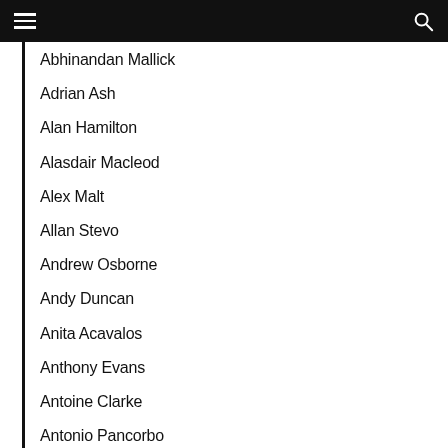Abhinandan Mallick
Adrian Ash
Alan Hamilton
Alasdair Macleod
Alex Malt
Allan Stevo
Andrew Osborne
Andy Duncan
Anita Acavalos
Anthony Evans
Antoine Clarke
Antonio Pancorbo
Chandrasekaran Balakrishnan
Ben Davies
Ben Dyson